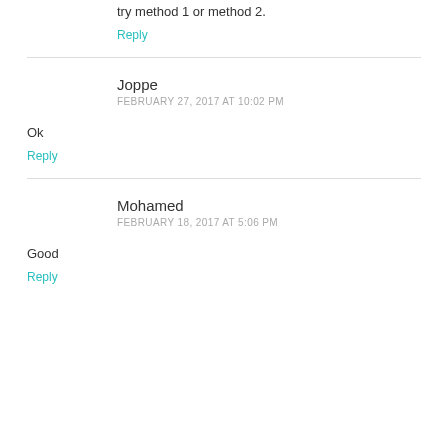try method 1 or method 2.
Reply
Joppe
FEBRUARY 27, 2017 AT 10:02 PM
Ok
Reply
Mohamed
FEBRUARY 18, 2017 AT 5:06 PM
Good
Reply